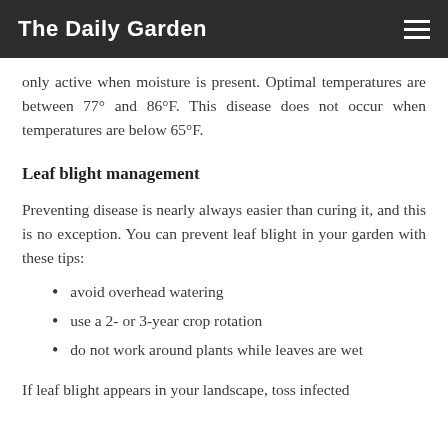The Daily Garden
only active when moisture is present. Optimal temperatures are between 77° and 86°F. This disease does not occur when temperatures are below 65°F.
Leaf blight management
Preventing disease is nearly always easier than curing it, and this is no exception. You can prevent leaf blight in your garden with these tips:
avoid overhead watering
use a 2- or 3-year crop rotation
do not work around plants while leaves are wet
If leaf blight appears in your landscape, toss infected